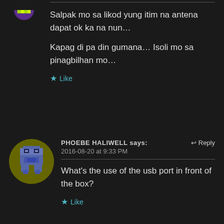Salpak mo sa likod yung itim na antena dapat ok ka na nun…
Kapag di pa din gumana… Isoli mo sa pinagbilhan mo…
Like
PHOEBE HALIWELL says:
2016-08-20 at 9:33 PM
What's the use of the usb port in front of the box?
Like